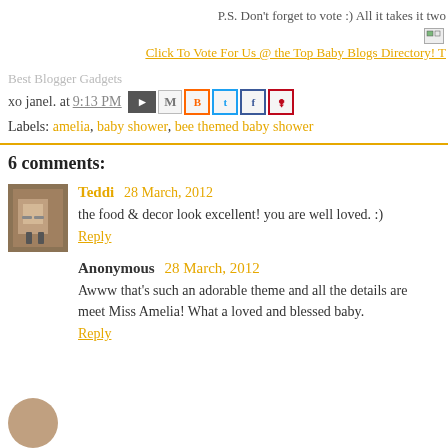P.S. Don't forget to vote :) All it takes it two
Click To Vote For Us @ the Top Baby Blogs Directory! T
Best Blogger Gadgets
xo janel. at 9:13 PM
Labels: amelia, baby shower, bee themed baby shower
6 comments:
Teddi 28 March, 2012
the food & decor look excellent! you are well loved. :)
Reply
Anonymous 28 March, 2012
Awww that's such an adorable theme and all the details are meet Miss Amelia! What a loved and blessed baby.
Reply